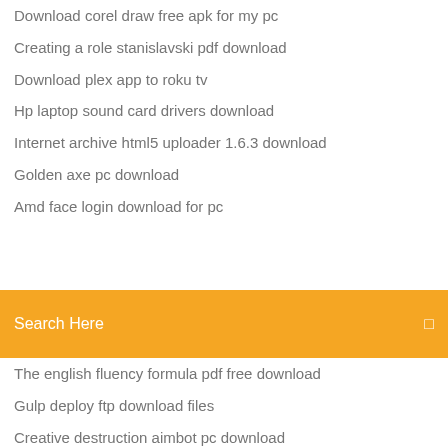Download corel draw free apk for my pc
Creating a role stanislavski pdf download
Download plex app to roku tv
Hp laptop sound card drivers download
Internet archive html5 uploader 1.6.3 download
Golden axe pc download
Amd face login download for pc
Search Here
The english fluency formula pdf free download
Gulp deploy ftp download files
Creative destruction aimbot pc download
Kinlde for pc download
Vape mod says download mode
Respondus lockdown browser download baylor
Sims 4 torrent download link
Genesis 8 female obj file download
Minecraft yharnam map download
Clip converter and downloader